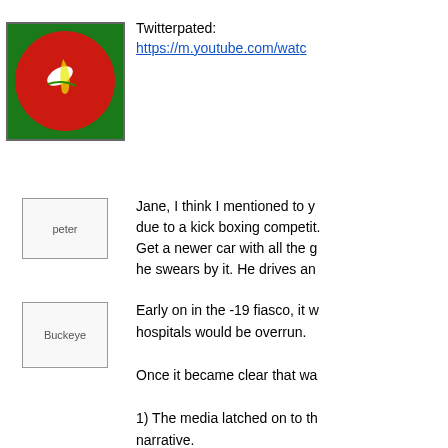[Figure (photo): Twitterpated avatar: circular red badge/coin image with a white rectangular object on it, bordered by a square frame]
Twitterpated:
https://m.youtube.com/wat...
[Figure (photo): peter avatar: broken image placeholder labeled 'peter']
Jane, I think I mentioned to y... due to a kick boxing competit... Get a newer car with all the g... he swears by it. He drives an...
[Figure (photo): Buckeye avatar: broken image placeholder labeled 'Buckeye']
Early on in the -19 fiasco, it w... hospitals would be overrun.

Once it became clear that wa...

1) The media latched on to th... narrative.

2) Fauci and Birx endeared th...

3) Trump got distracted by tre...